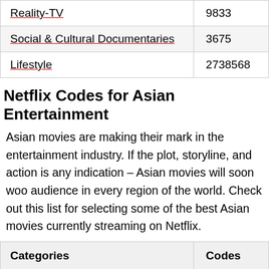| Reality-TV | 9833 |
| Social & Cultural Documentaries | 3675 |
| Lifestyle | 2738568 |
Netflix Codes for Asian Entertainment
Asian movies are making their mark in the entertainment industry. If the plot, storyline, and action is any indication – Asian movies will soon woo audience in every region of the world. Check out this list for selecting some of the best Asian movies currently streaming on Netflix.
| Categories | Codes |
| --- | --- |
| Asian Action Movies | 77232 |